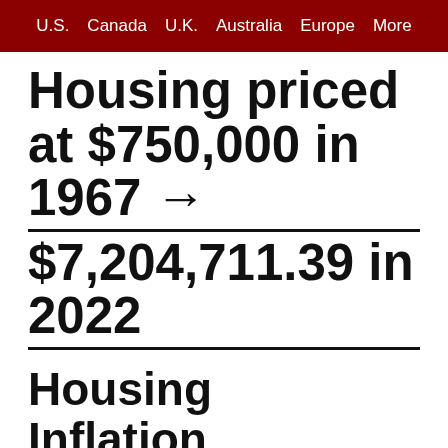U.S.  Canada  U.K.  Australia  Europe  More
Housing priced at $750,000 in 1967 → $7,204,711.39 in 2022
Housing Inflation Calculator
Cost
$